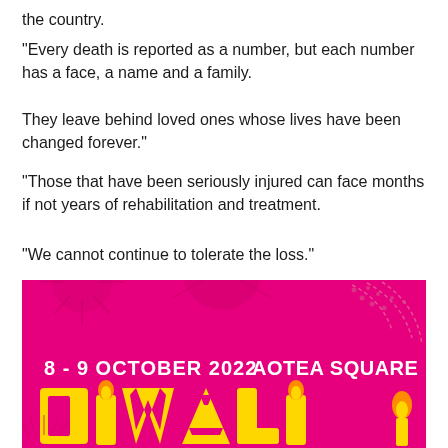the country.
"Every death is reported as a number, but each number has a face, a name and a family.
They leave behind loved ones whose lives have been changed forever."
"Those that have been seriously injured can face months if not years of rehabilitation and treatment.
"We cannot continue to tolerate the loss."
[Figure (illustration): Diwali festival promotional poster with bright pink/magenta background, decorative fireworks and sunburst patterns, text reading '8 - 9 OCTOBER 2022' and 'AOTEA SQUARE', and large yellow 'DIWALI' lettering with flame decorations at bottom.]